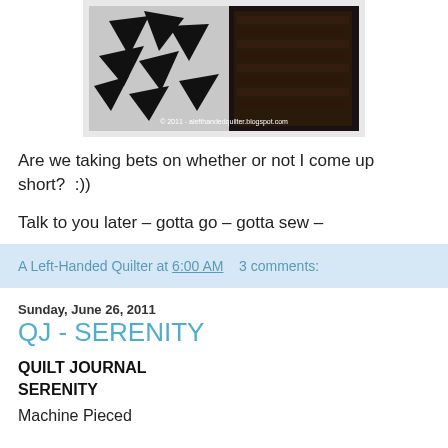[Figure (photo): Photo of black fabric triangles scattered on a white surface (left) and dark brown fabric pieces in a container (right). Watermark reads: © 2011 - alefthandedquilter.blogspot.com]
Are we taking bets on whether or not I come up short?  :))
Talk to you later – gotta go – gotta sew –
A Left-Handed Quilter at 6:00 AM    3 comments:
Sunday, June 26, 2011
QJ - SERENITY
QUILT JOURNAL
SERENITY
Machine Pieced